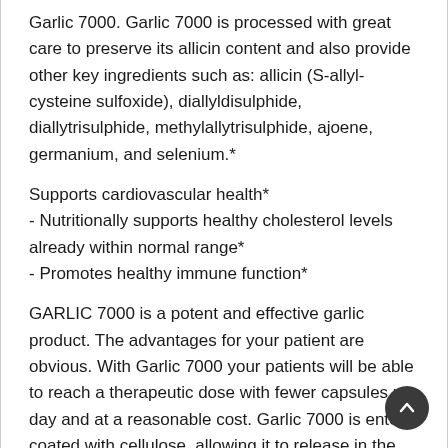Garlic 7000. Garlic 7000 is processed with great care to preserve its allicin content and also provide other key ingredients such as: allicin (S-allyl-cysteine sulfoxide), diallyldisulphide, diallytrisulphide, methylallytrisulphide, ajoene, germanium, and selenium.*
Supports cardiovascular health*
- Nutritionally supports healthy cholesterol levels already within normal range*
- Promotes healthy immune function*
GARLIC 7000 is a potent and effective garlic product. The advantages for your patient are obvious. With Garlic 7000 your patients will be able to reach a therapeutic dose with fewer capsules per day and at a reasonable cost. Garlic 7000 is enteric coated with cellulose, allowing it to release in the small intestine